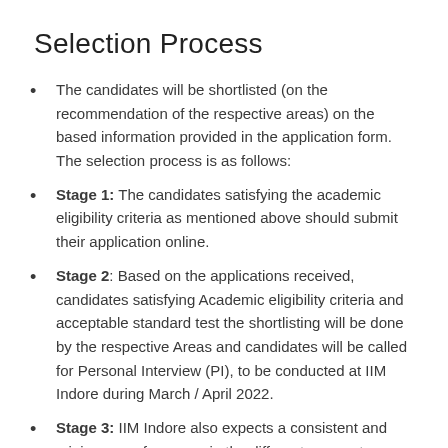Selection Process
The candidates will be shortlisted (on the recommendation of the respective areas) on the based information provided in the application form. The selection process is as follows:
Stage 1: The candidates satisfying the academic eligibility criteria as mentioned above should submit their application online.
Stage 2: Based on the applications received, candidates satisfying Academic eligibility criteria and acceptable standard test the shortlisting will be done by the respective Areas and candidates will be called for Personal Interview (PI), to be conducted at IIM Indore during March / April 2022.
Stage 3: IIM Indore also expects a consistent and minimum performance in the different parameters